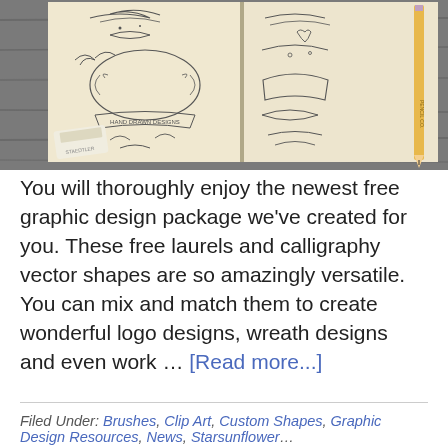[Figure (photo): Open sketchbook/notebook showing hand-drawn laurel and calligraphy vector designs on both pages. A yellow pencil rests on the right side and an eraser on the lower left. The notebook sits on a grey wood surface.]
You will thoroughly enjoy the newest free graphic design package we've created for you. These free laurels and calligraphy vector shapes are so amazingly versatile. You can mix and match them to create wonderful logo designs, wreath designs and even work … [Read more...]
Filed Under: Brushes, Clip Art, Custom Shapes, Graphic Design Resources, News, Starsunflower...